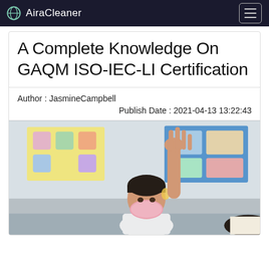AiraCleaner
A Complete Knowledge On GAQM ISO-IEC-LI Certification
Author : JasmineCampbell
Publish Date : 2021-04-13 13:22:43
[Figure (photo): A classroom photo showing a young student wearing a pink face mask raising their hand, with colorful educational posters visible on the wall in the background]